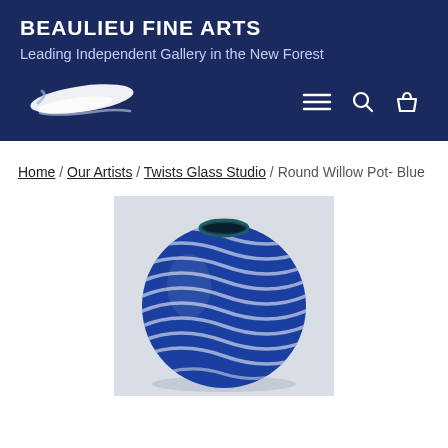BEAULIEU FINE ARTS
Leading Independent Gallery in the New Forest
[Figure (logo): Beaulieu Fine Arts logo - stylized white brushstroke/swoosh mark]
Home / Our Artists / Twists Glass Studio / Round Willow Pot- Blue
[Figure (photo): Round blue art glass pot with white swirling ribbed pattern, small opening at top, shown against light grey background - Twists Glass Studio Round Willow Pot in Blue]